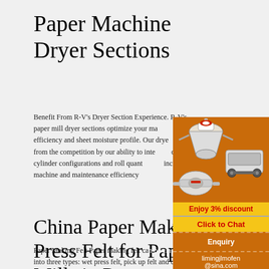Paper Machine Dryer Sections
Benefit From R-V's Dryer Section Experience. R-V's paper mill dryer sections optimize your machine efficiency and sheet moisture profile. Our dryers set apart from the competition by our ability to integrate different cylinder configurations and roll quantities to increase machine and maintenance efficiency.
[Figure (photo): Advertisement overlay showing industrial mining/milling machines (crusher, mill, screening equipment) on orange background with 'Enjoy 3% discount', 'Click to Chat', 'Enquiry', and 'limingjlmofen@sina.com' text]
China Paper Making Press Felt for Paper Mills in Paper ...
Paper Making Felt Paper making felt can be classified into three types: wet press felt, pick up felt and dryer felt according to the use. Press section felt...